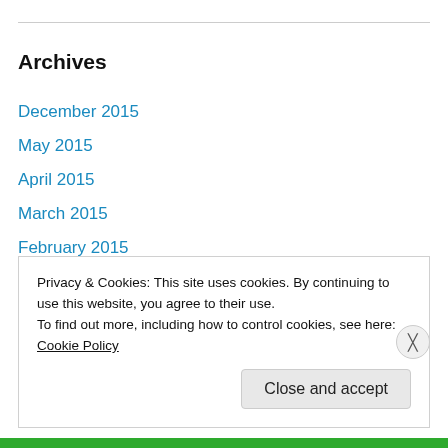Archives
December 2015
May 2015
April 2015
March 2015
February 2015
November 2014
October 2014
September 2014
August 2014
July 2014
Privacy & Cookies: This site uses cookies. By continuing to use this website, you agree to their use.
To find out more, including how to control cookies, see here: Cookie Policy
Close and accept